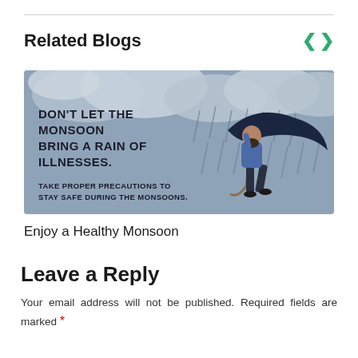Related Blogs
[Figure (illustration): Health blog illustration showing a person holding a dark umbrella in the rain with text: DON'T LET THE MONSOON BRING A RAIN OF ILLNESSES. TAKE PROPER PRECAUTIONS TO STAY SAFE DURING THE MONSOONS.]
Enjoy a Healthy Monsoon
Leave a Reply
Your email address will not be published. Required fields are marked *